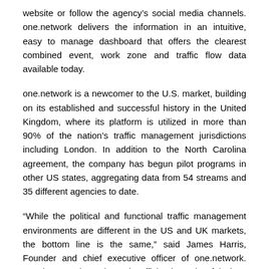website or follow the agency’s social media channels. one.network delivers the information in an intuitive, easy to manage dashboard that offers the clearest combined event, work zone and traffic flow data available today.
one.network is a newcomer to the U.S. market, building on its established and successful history in the United Kingdom, where its platform is utilized in more than 90% of the nation’s traffic management jurisdictions including London. In addition to the North Carolina agreement, the company has begun pilot programs in other US states, aggregating data from 54 streams and 35 different agencies to date.
“While the political and functional traffic management environments are different in the US and UK markets, the bottom line is the same,” said James Harris, Founder and chief executive officer of one.network. “Moving people and goods efficiently and safely is a consistent theme. We are thrilled to be involved in that worthy cause on both sides of the Atlantic.”